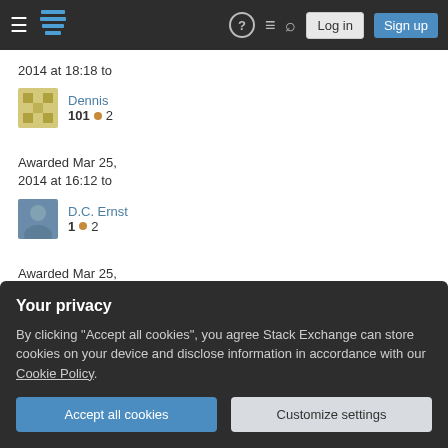Stack Exchange navigation bar with Log in and Sign up buttons
2014 at 18:18 to
Dennis
101 • 2
Awarded Mar 25, 2014 at 16:12 to
D.C. Ernst
1 • 2
Awarded Mar 25, 2014 at 8:12 to
Jyrki Lahtonen
Your privacy
By clicking "Accept all cookies", you agree Stack Exchange can store cookies on your device and disclose information in accordance with our Cookie Policy.
Awarded Mar 25,